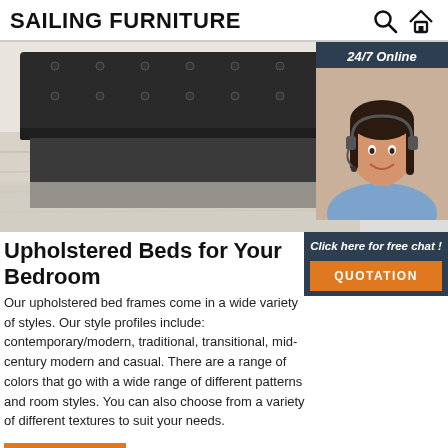SAILING FURNITURE
[Figure (photo): Upholstered bed headboard in dark grey fabric on a light wood floor, with a 24/7 online chat popup overlay showing a smiling woman with headset, and a QUOTATION button.]
Upholstered Beds for Your Bedroom
Our upholstered bed frames come in a wide variety of styles. Our style profiles include: contemporary/modern, traditional, transitional, mid-century modern and casual. There are a range of colors that go with a wide range of different patterns and room styles. You can also choose from a variety of different textures to suit your needs.
Get Price